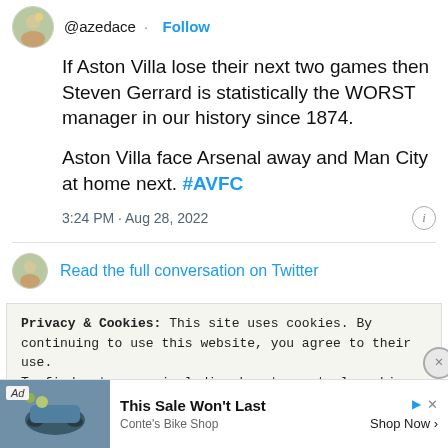@azedace · Follow
If Aston Villa lose their next two games then Steven Gerrard is statistically the WORST manager in our history since 1874.
Aston Villa face Arsenal away and Man City at home next. #AVFC
3:24 PM · Aug 28, 2022
Read the full conversation on Twitter
Privacy & Cookies: This site uses cookies. By continuing to use this website, you agree to their use.
To find out more, including how to control cookies, see here: Cookie Policy
Ad  This Sale Won't Last  Conte's Bike Shop  Shop Now >